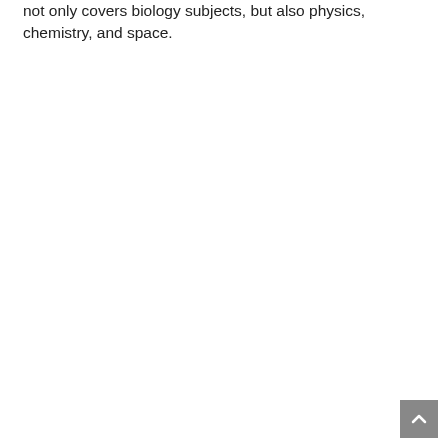not only covers biology subjects, but also physics, chemistry, and space.